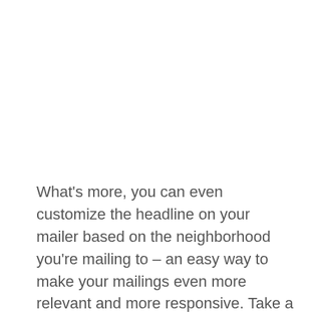What's more, you can even customize the headline on your mailer based on the neighborhood you're mailing to – an easy way to make your mailings even more relevant and more responsive. Take a look at these examples: